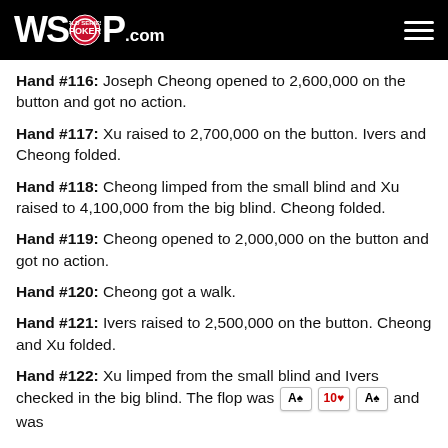WSOP.com
Hand #116: Joseph Cheong opened to 2,600,000 on the button and got no action.
Hand #117: Xu raised to 2,700,000 on the button. Ivers and Cheong folded.
Hand #118: Cheong limped from the small blind and Xu raised to 4,100,000 from the big blind. Cheong folded.
Hand #119: Cheong opened to 2,000,000 on the button and got no action.
Hand #120: Cheong got a walk.
Hand #121: Ivers raised to 2,500,000 on the button. Cheong and Xu folded.
Hand #122: Xu limped from the small blind and Ivers checked in the big blind. The flop was [A♠][10♥][A♠] and was